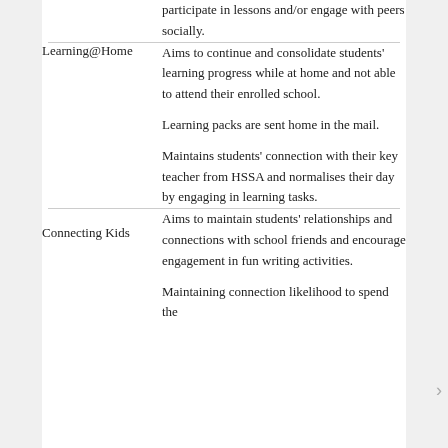| Program | Description |
| --- | --- |
|  | participate in lessons and/or engage with peers socially. |
| Learning@Home | Aims to continue and consolidate students' learning progress while at home and not able to attend their enrolled school.
Learning packs are sent home in the mail.
Maintains students' connection with their key teacher from HSSA and normalises their day by engaging in learning tasks. |
| Connecting Kids | Aims to maintain students' relationships and connections with school friends and encourage engagement in fun writing activities.
Maintaining connection likelihood to spend the |